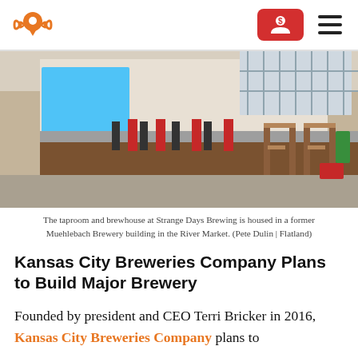Flatland news logo header with account button and hamburger menu
[Figure (photo): Interior of Strange Days Brewing taproom showing a long wooden bar with red and black stools, high wooden tables, and industrial-style ceiling in a former Muehlebach Brewery building in the River Market.]
The taproom and brewhouse at Strange Days Brewing is housed in a former Muehlebach Brewery building in the River Market. (Pete Dulin | Flatland)
Kansas City Breweries Company Plans to Build Major Brewery
Founded by president and CEO Terri Bricker in 2016, Kansas City Breweries Company plans to